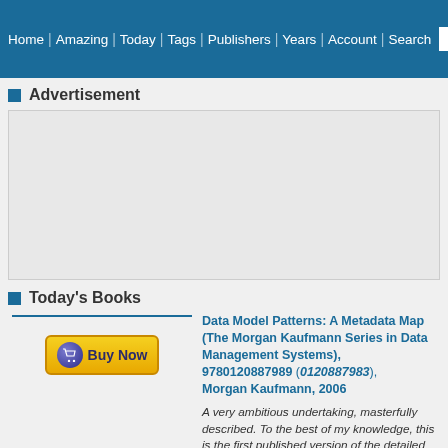Home | Amazing | Today | Tags | Publishers | Years | Account | Search
Advertisement
[Figure (other): Advertisement placeholder box]
Today's Books
[Figure (other): Buy Now button with shopping cart icon]
Data Model Patterns: A Metadata Map (The Morgan Kaufmann Series in Data Management Systems), 9780120887989 (0120887983), Morgan Kaufmann, 2006
A very ambitious undertaking, masterfully described. To the best of my knowledge, this is the first published version of the detailed models implied by the Zachman Framework. David Hay builds the models one step at a time, describing each increment why the new entities were added and how they related to the rest of the model. At least as important he sprinkles in lessons learned from his vast experience modeling in various